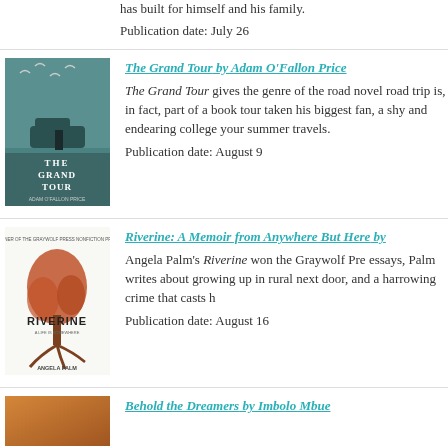has built for himself and his family.
Publication date: July 26
[Figure (photo): Book cover of The Grand Tour by Adam O'Fallon Price]
The Grand Tour by Adam O'Fallon Price
The Grand Tour gives the genre of the road novel a twist: this road trip is, in fact, part of a book tour taken with his biggest fan, a shy and endearing college student. Pack it for your summer travels.
Publication date: August 9
[Figure (photo): Book cover of Riverine: A Memoir from Anywhere But Here by Angela Palm]
Riverine: A Memoir from Anywhere But Here by
Angela Palm's Riverine won the Graywolf Press Nonfiction Prize. In lyric essays, Palm writes about growing up in rural Indiana, a boy who lived next door, and a harrowing crime that casts h
Publication date: August 16
[Figure (photo): Book cover of Behold the Dreamers by Imbolo Mbue]
Behold the Dreamers by Imbolo Mbue